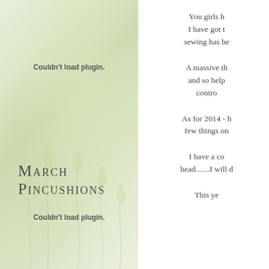[Figure (photo): Left panel with a soft green wheat field background image. Two plugin error messages and a decorative title overlay are shown on the image.]
Couldn't load plugin.
March Pincushions
Couldn't load plugin.
You girls h... I have got t... sewing has be...
A massive th... and so help... contro...
As for 2014 - h... few things on...
I have a co... head.......I will d...
This ye...